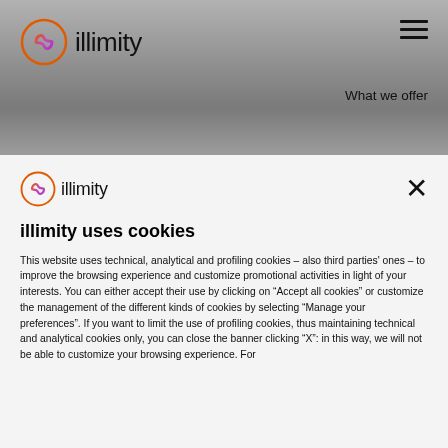illimity — navigation bar with logo, hamburger menu, and 'What we offer' link
[Figure (logo): illimity logo in navigation bar — orange/pink infinity-style circular icon with 'illimity' text]
What we offer
[Figure (logo): illimity logo in cookie panel — orange/pink infinity-style circular icon with 'illimity' text, smaller size]
illimity uses cookies
This website uses technical, analytical and profiling cookies – also third parties' ones – to improve the browsing experience and customize promotional activities in light of your interests. You can either accept their use by clicking on “Accept all cookies” or customize the management of the different kinds of cookies by selecting “Manage your preferences”. If you want to limit the use of profiling cookies, thus maintaining technical and analytical cookies only, you can close the banner clicking “X”: in this way, we will not be able to customize your browsing experience. For